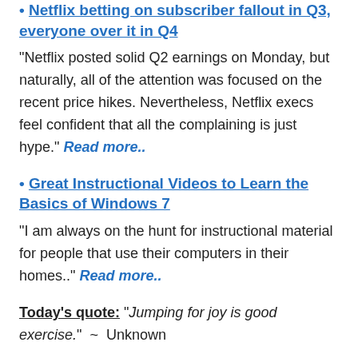• Netflix betting on subscriber fallout in Q3, everyone over it in Q4
“Netflix posted solid Q2 earnings on Monday, but naturally, all of the attention was focused on the recent price hikes. Nevertheless, Netflix execs feel confident that all the complaining is just hype.” Read more..
• Great Instructional Videos to Learn the Basics of Windows 7
“I am always on the hunt for instructional material for people that use their computers in their homes..” Read more..
Today’s quote: “Jumping for joy is good exercise.”  ~  Unknown
Copyright 2007-2011 © “Tech Paul” (Paul Eckstrom). All